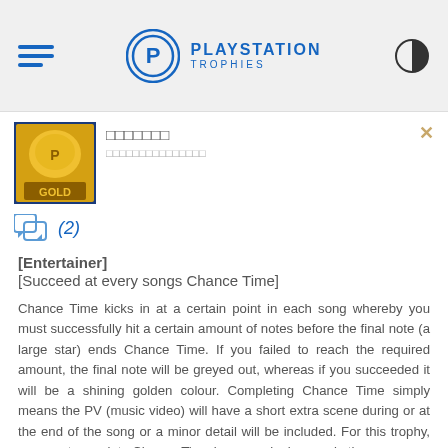PlayStation Trophies
[Figure (logo): Gold trophy badge image for a PlayStation game]
□□□□□□□
□□□□□□□□□□□□□□□
(2)
[Entertainer]
[Succeed at every songs Chance Time]
Chance Time kicks in at a certain point in each song whereby you must successfully hit a certain amount of notes before the final note (a large star) ends Chance Time. If you failed to reach the required amount, the final note will be greyed out, whereas if you succeeded it will be a shining golden colour. Completing Chance Time simply means the PV (music video) will have a short extra scene during or at the end of the song or a minor detail will be included. For this trophy, you must complete Chance Time in every single song in the game.